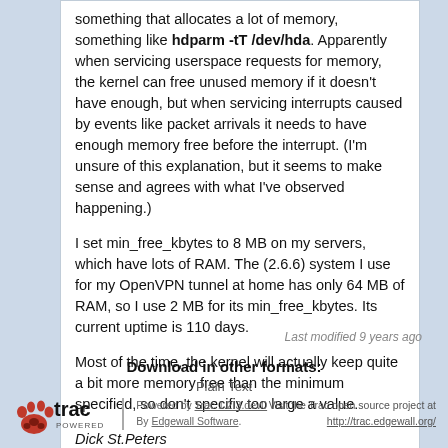something that allocates a lot of memory, something like hdparm -tT /dev/hda. Apparently when servicing userspace requests for memory, the kernel can free unused memory if it doesn't have enough, but when servicing interrupts caused by events like packet arrivals it needs to have enough memory free before the interrupt. (I'm unsure of this explanation, but it seems to make sense and agrees with what I've observed happening.)
I set min_free_kbytes to 8 MB on my servers, which have lots of RAM. The (2.6.6) system I use for my OpenVPN tunnel at home has only 64 MB of RAM, so I use 2 MB for its min_free_kbytes. Its current uptime is 110 days.
Most of the time, the kernel will actually keep quite a bit more memory free than the minimum specified, so don't specifiy too large a value.
Dick St.Peters
Return to FAQ
Last modified 9 years ago
Download in other formats:
Plain Text
Powered by Trac 1.2.3.dev0
By Edgewall Software.
Visit the Trac open source project at
http://trac.edgewall.org/